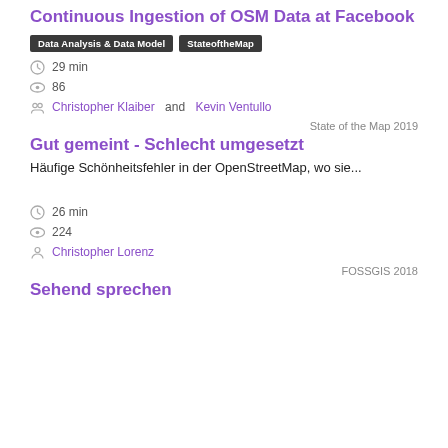Continuous Ingestion of OSM Data at Facebook
Data Analysis & Data Model | StateoftheMap
29 min
86
Christopher Klaiber and Kevin Ventullo
State of the Map 2019
Gut gemeint - Schlecht umgesetzt
Häufige Schönheitsfehler in der OpenStreetMap, wo sie...
26 min
224
Christopher Lorenz
FOSSGIS 2018
Sehend sprechen